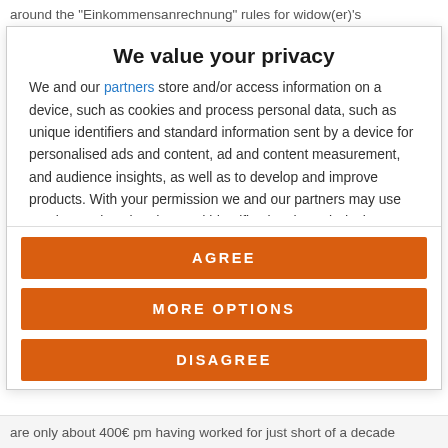around the "Einkommensanrechnung" rules for widow(er)'s
We value your privacy
We and our partners store and/or access information on a device, such as cookies and process personal data, such as unique identifiers and standard information sent by a device for personalised ads and content, ad and content measurement, and audience insights, as well as to develop and improve products. With your permission we and our partners may use precise geolocation data and identification through device scanning. You may click to consent to our and our partners' processing as described above. Alternatively you may click to refuse to consent or access more detailed information and change your
AGREE
MORE OPTIONS
DISAGREE
are only about 400€ pm having worked for just short of a decade